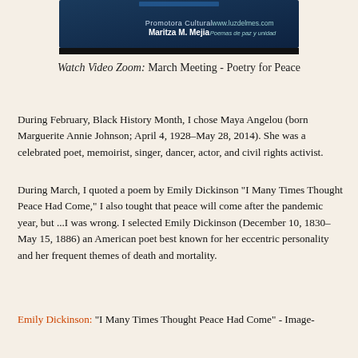[Figure (screenshot): Screenshot of a video zoom meeting banner with text 'Promotora Cultural Maritza M. Mejia' and 'www.luzdelmes.com Poemas de paz y unidad' on a dark blue background]
Watch Video Zoom: March Meeting - Poetry for Peace
During February, Black History Month, I chose Maya Angelou (born Marguerite Annie Johnson; April 4, 1928–May 28, 2014). She was a celebrated poet, memoirist, singer, dancer, actor, and civil rights activist.
During March, I quoted a poem by Emily Dickinson "I Many Times Thought Peace Had Come," I also tought that peace will come after the pandemic year, but ...I was wrong. I selected Emily Dickinson (December 10, 1830–May 15, 1886) an American poet best known for her eccentric personality and her frequent themes of death and mortality.
Emily Dickinson: "I Many Times Thought Peace Had Come" - Image-